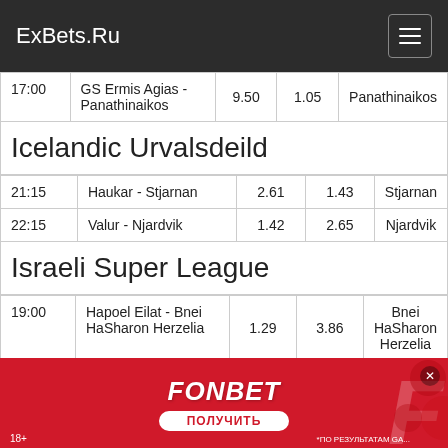ExBets.Ru
| Time | Match | Odd1 | Odd2 | Prediction |
| --- | --- | --- | --- | --- |
| 17:00 | GS Ermis Agias - Panathinaikos | 9.50 | 1.05 | Panathinaikos |
Icelandic Urvalsdeild
| Time | Match | Odd1 | Odd2 | Prediction |
| --- | --- | --- | --- | --- |
| 21:15 | Haukar - Stjarnan | 2.61 | 1.43 | Stjarnan |
| 22:15 | Valur - Njardvik | 1.42 | 2.65 | Njardvik |
Israeli Super League
| Time | Match | Odd1 | Odd2 | Prediction |
| --- | --- | --- | --- | --- |
| 19:00 | Hapoel Eilat - Bnei HaSharon Herzelia | 1.29 | 3.86 | Bnei HaSharon Herzelia |
| 19:20 | Maccabi Rishon - | 1.60 | 2.54 | Maccabi Rishon |
[Figure (infographic): FONBET advertisement banner with red background, logo, and ПОЛУЧИТЬ button]